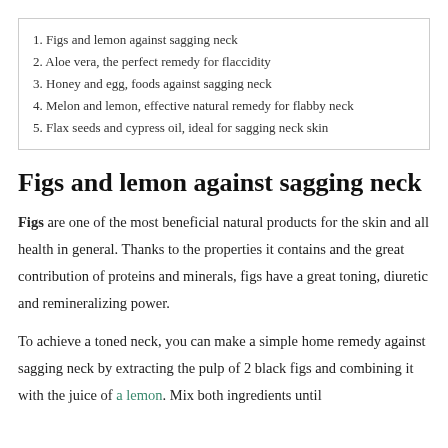1. Figs and lemon against sagging neck
2. Aloe vera, the perfect remedy for flaccidity
3. Honey and egg, foods against sagging neck
4. Melon and lemon, effective natural remedy for flabby neck
5. Flax seeds and cypress oil, ideal for sagging neck skin
Figs and lemon against sagging neck
Figs are one of the most beneficial natural products for the skin and all health in general. Thanks to the properties it contains and the great contribution of proteins and minerals, figs have a great toning, diuretic and remineralizing power.
To achieve a toned neck, you can make a simple home remedy against sagging neck by extracting the pulp of 2 black figs and combining it with the juice of a lemon. Mix both ingredients until